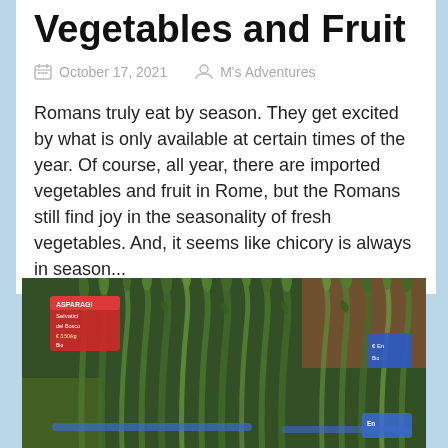Vegetables and Fruit
October 17, 2021   M's Adventures
Romans truly eat by season. They get excited by what is only available at certain times of the year. Of course, all year, there are imported vegetables and fruit in Rome, but the Romans still find joy in the seasonality of fresh vegetables. And, it seems like chicory is always in season...
[Figure (photo): Close-up photo of bundles of wild asparagus at a market, with green pointed tips and blue/red price tags visible]